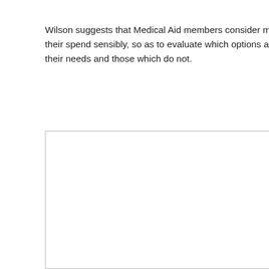Wilson suggests that Medical Aid members consider managing and monitoring their spend sensibly, so as to evaluate which options and benefits work best for their needs and those which do not.
[Figure (other): White rectangular box with border, partially visible, likely containing an image or chart not visible in this crop.]
Medical Aid Benefits vs Premiums – Remember These